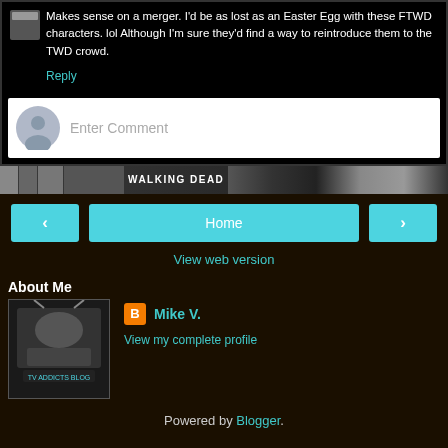Makes sense on a merger. I'd be as lost as an Easter Egg with these FTWD characters. lol Although I'm sure they'd find a way to reintroduce them to the TWD crowd.
Reply
Enter Comment
[Figure (infographic): Banner strip showing Walking Dead themed images]
< Home >
View web version
About Me
[Figure (photo): TV Addicts Blog logo/profile image with a TV graphic]
Mike V.
View my complete profile
Powered by Blogger.